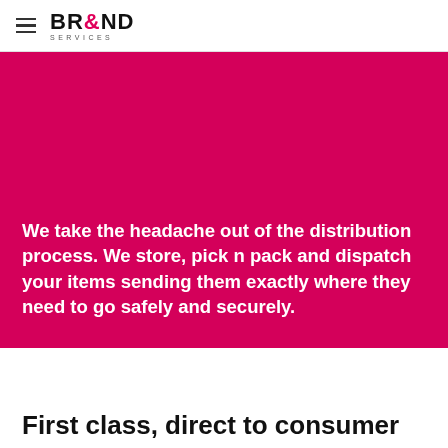BR&ND SERVICES
We take the headache out of the distribution process. We store, pick n pack and dispatch your items sending them exactly where they need to go safely and securely.
First class, direct to consumer